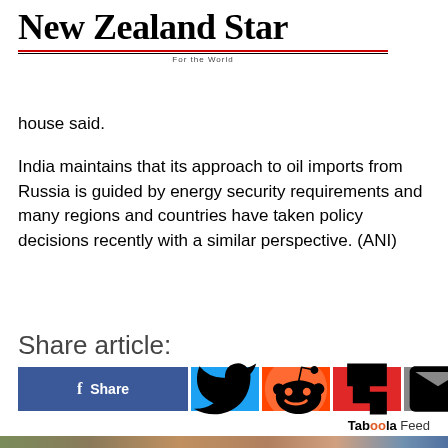[Figure (logo): New Zealand Star newspaper logo with red and black rules and tagline 'For the World']
house said.
India maintains that its approach to oil imports from Russia is guided by energy security requirements and many regions and countries have taken policy decisions recently with a similar perspective. (ANI)
Share article:
[Figure (other): Social share buttons: Facebook Share, Twitter, Reddit, Flipboard, Email]
Taboola Feed
[Figure (photo): Partial photo strip showing buildings and a flag, bottom of page]